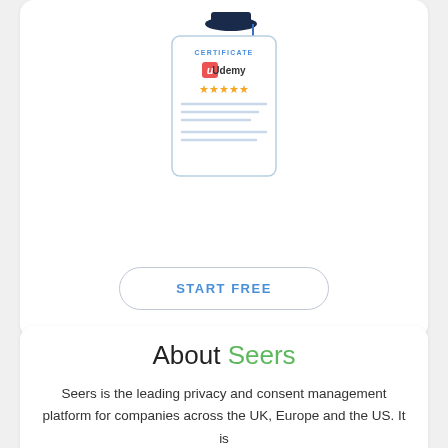[Figure (illustration): Udemy certificate illustration with graduation cap on top, showing Udemy logo, 5 gold stars, and grey lines representing certificate text]
START FREE
About Seers
Seers is the leading privacy and consent management platform for companies across the UK, Europe and the US. It is